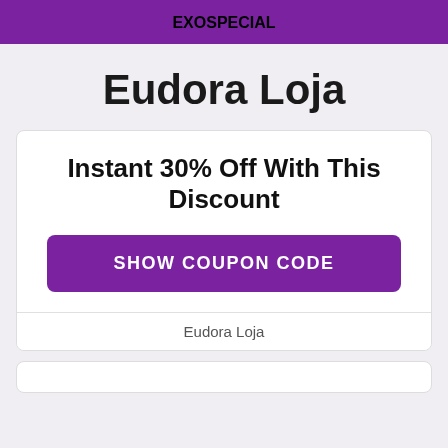EXOSPECIAL
Eudora Loja
Instant 30% Off With This Discount
SHOW COUPON CODE
Eudora Loja